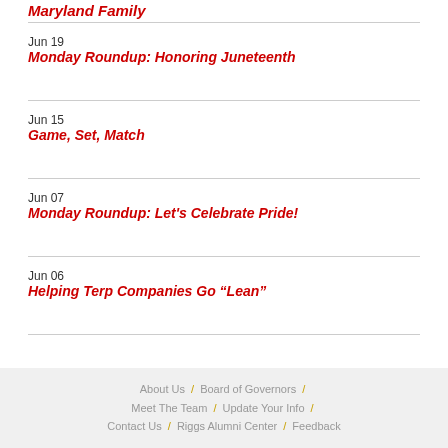Maryland Family
Jun 19 — Monday Roundup: Honoring Juneteenth
Jun 15 — Game, Set, Match
Jun 07 — Monday Roundup: Let's Celebrate Pride!
Jun 06 — Helping Terp Companies Go “Lean”
About Us / Board of Governors / Meet The Team / Update Your Info / Contact Us / Riggs Alumni Center / Feedback